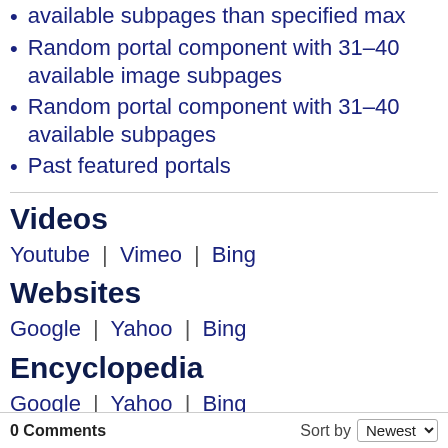available subpages than specified max
Random portal component with 31–40 available image subpages
Random portal component with 31–40 available subpages
Past featured portals
Videos
Youtube | Vimeo | Bing
Websites
Google | Yahoo | Bing
Encyclopedia
Google | Yahoo | Bing
Facebook
0 Comments   Sort by Newest